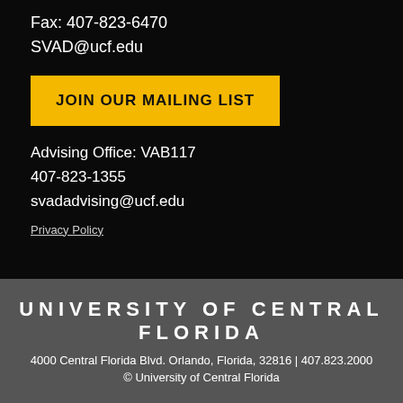Fax: 407-823-6470
SVAD@ucf.edu
JOIN OUR MAILING LIST
Advising Office: VAB117
407-823-1355
svadadvising@ucf.edu
Privacy Policy
UNIVERSITY OF CENTRAL FLORIDA
4000 Central Florida Blvd. Orlando, Florida, 32816 | 407.823.2000
© University of Central Florida